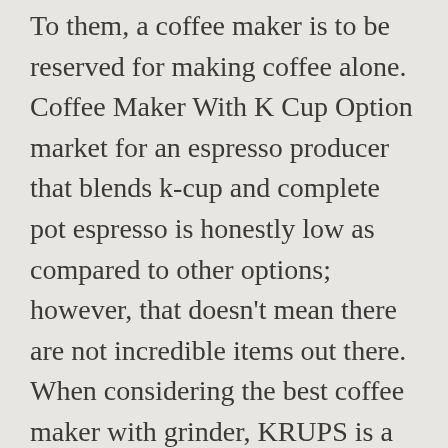To them, a coffee maker is to be reserved for making coffee alone. Coffee Maker With K Cup Option market for an espresso producer that blends k-cup and complete pot espresso is honestly low as compared to other options; however, that doesn't mean there are not incredible items out there. When considering the best coffee maker with grinder, KRUPS is a name that pops up immediately. For help, please text 9 a.m.-6 p.m. The base of the blender (where the motor is) should have a rating label that features your model number. Reply. [[cart.totals.discountedSubtotal | currency : cart.currency.symbol]], [[orderline.price | currency : cart.currency.symbol]], [[(orderline.promoPrice